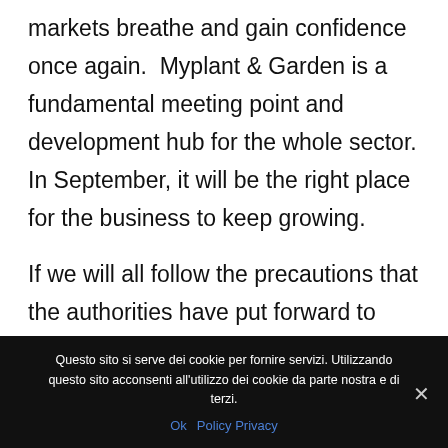markets breathe and gain confidence once again.  Myplant & Garden is a fundamental meeting point and development hub for the whole sector. In September, it will be the right place for the business to keep growing.
If we will all follow the precautions that the authorities have put forward to contrast the diffusion of the contagion, we will all be back soon to our activities, passions, and businesses.
Questo sito si serve dei cookie per fornire servizi. Utilizzando questo sito acconsenti all'utilizzo dei cookie da parte nostra e di terzi. Ok  Policy Privacy